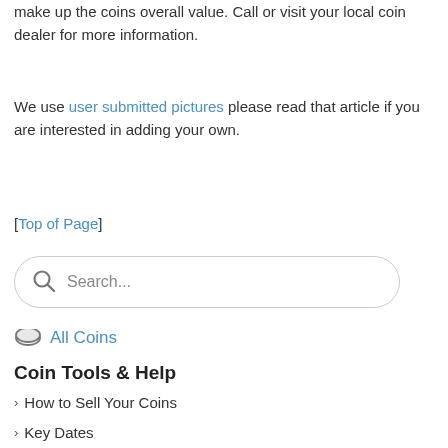make up the coins overall value. Call or visit your local coin dealer for more information.
We use user submitted pictures please read that article if you are interested in adding your own.
[Top of Page]
[Figure (other): Search box with magnifying glass icon and placeholder text 'Search...']
All Coins
Coin Tools & Help
How to Sell Your Coins
Key Dates
What Makes A Coin Valuable?
Most Valuable Coins
Rare US Coins
Coin Collecting Investment
Top Coin Grading Companies